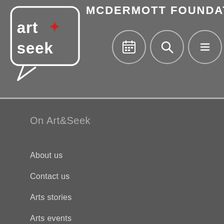MCDERMOTT FOUNDATION
[Figure (logo): Art&Seek logo inside a speech bubble shape with a red star/asterisk]
On Art&Seek
About us
Contact us
Arts stories
Arts events
Festivals
Newsletter